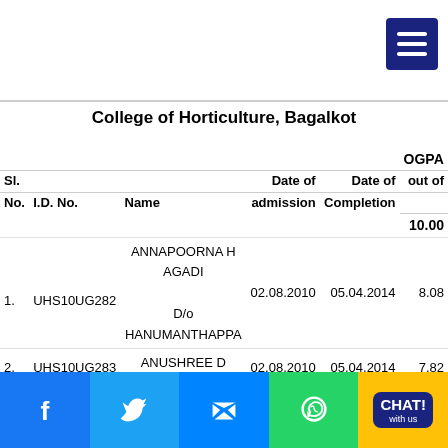College of Horticulture, Bagalkot
| Sl. No. | I.D. No. | Name | Date of admission | Date of Completion | OGPA out of 10.00 |
| --- | --- | --- | --- | --- | --- |
| 1. | UHS10UG282 | ANNAPOORNA H AGADI
D/o HANUMANTHAPPA | 02.08.2010 | 05.04.2014 | 8.08 |
| 2. | UHS10UG283 | ANUSHREE D
D/o DATTATREYA K | 02.08.2010 | 05.04.2014 | 7.82 |